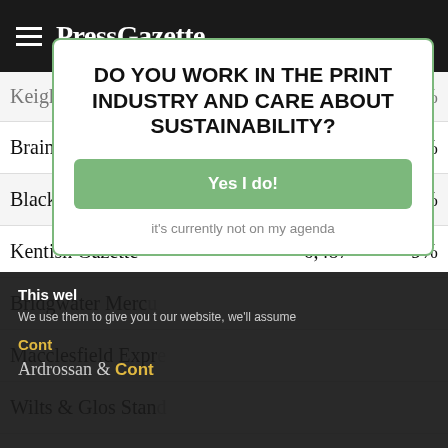PressGazette
| Publication | Circulation | Change |
| --- | --- | --- |
| Keighley News | 6,736 | -8% |
| Braintree & Witham Times | 6,634 | -12% |
| Black Country Bugle | 6,614 | -14% |
| Kentish Gazette | 6,487 | -9% |
| Bridgwater Mercury |  |  |
| Macclesfield Express |  |  |
| Wilts & Glos Standard |  |  |
| Ardrossan & |  |  |
This website uses cookies. We use them to give you the best experience. If you continue using our website, we'll assume that you are happy to receive all cookies on this website.
Continue
DO YOU WORK IN THE PRINT INDUSTRY AND CARE ABOUT SUSTAINABILITY?
Yes I do!
it's currently not on my agenda